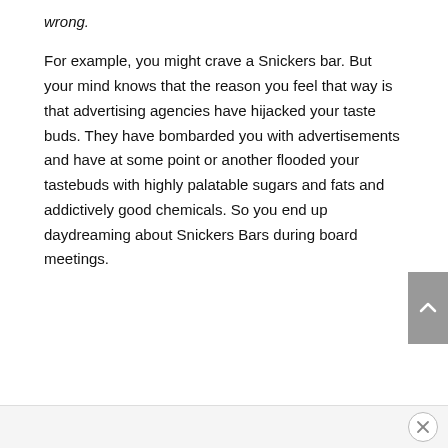wrong.
For example, you might crave a Snickers bar. But your mind knows that the reason you feel that way is that advertising agencies have hijacked your taste buds. They have bombarded you with advertisements and have at some point or another flooded your tastebuds with highly palatable sugars and fats and addictively good chemicals. So you end up daydreaming about Snickers Bars during board meetings.